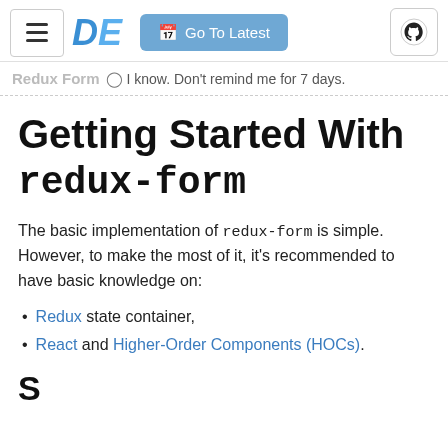≡  DE  [Go To Latest]  [GitHub icon]
Redux Form  ⊙ I know. Don't remind me for 7 days.
Getting Started With redux-form
The basic implementation of redux-form is simple. However, to make the most of it, it's recommended to have basic knowledge on:
Redux state container,
React and Higher-Order Components (HOCs).
S...